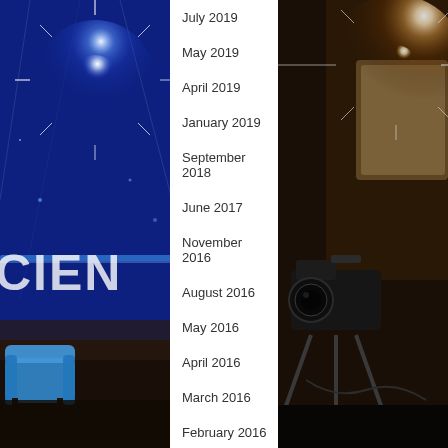[Figure (photo): Blue TV studio background with bright starburst light effect on left side, 'CIEN' text visible, blue sofa/chair in foreground]
[Figure (photo): Camera and studio equipment on right side with bright starburst/lens flare light effect, warm tones]
July 2019
May 2019
April 2019
January 2019
September 2018
June 2017
November 2016
August 2016
May 2016
April 2016
March 2016
February 2016